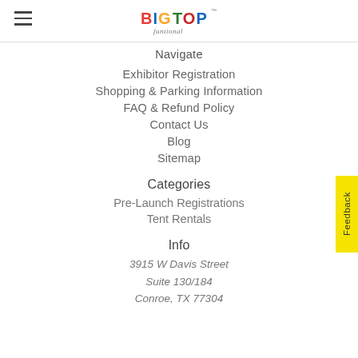[Figure (logo): Big Top Funtional logo - colorful circus-style text]
Navigate
Exhibitor Registration
Shopping & Parking Information
FAQ & Refund Policy
Contact Us
Blog
Sitemap
Categories
Pre-Launch Registrations
Tent Rentals
Info
3915 W Davis Street
Suite 130/184
Conroe, TX 77304